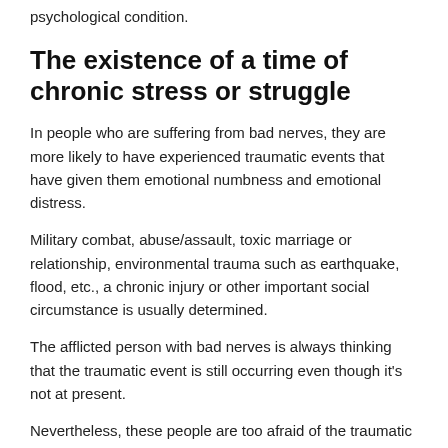psychological condition.
The existence of a time of chronic stress or struggle
In people who are suffering from bad nerves, they are more likely to have experienced traumatic events that have given them emotional numbness and emotional distress.
Military combat, abuse/assault, toxic marriage or relationship, environmental trauma such as earthquake, flood, etc., a chronic injury or other important social circumstance is usually determined.
The afflicted person with bad nerves is always thinking that the traumatic event is still occurring even though it's not at present.
Nevertheless, these people are too afraid of the traumatic events that they become fearful about